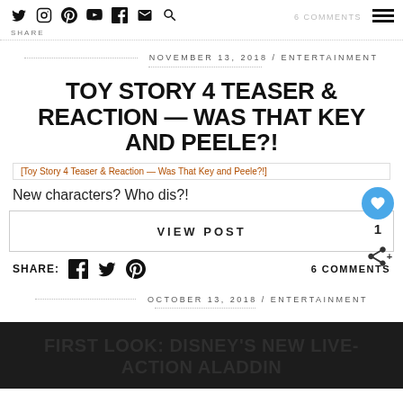SHARE  [icons: twitter, instagram, pinterest, youtube, facebook, email, search]  6 COMMENTS  [hamburger menu]
NOVEMBER 13, 2018 / ENTERTAINMENT
TOY STORY 4 TEASER & REACTION — WAS THAT KEY AND PEELE?!
[Figure (photo): Toy Story 4 Teaser & Reaction — Was That Key and Peele?! image placeholder]
New characters? Who dis?!
VIEW POST
SHARE:  [facebook icon]  [twitter icon]  [pinterest icon]    6 COMMENTS
OCTOBER 13, 2018 / ENTERTAINMENT
FIRST LOOK: DISNEY'S NEW LIVE-ACTION ALADDIN